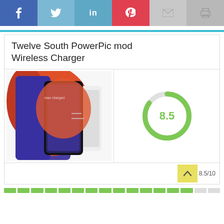[Figure (infographic): Social share bar with Facebook, Twitter, LinkedIn, Pinterest, Email, and Print buttons]
Twelve South PowerPic mod Wireless Charger
[Figure (photo): Product photo of Twelve South PowerPic mod Wireless Charger showing a smartphone charging on the device]
[Figure (donut-chart): Donut chart showing score of 8.5 out of 10 in green]
8.5/10